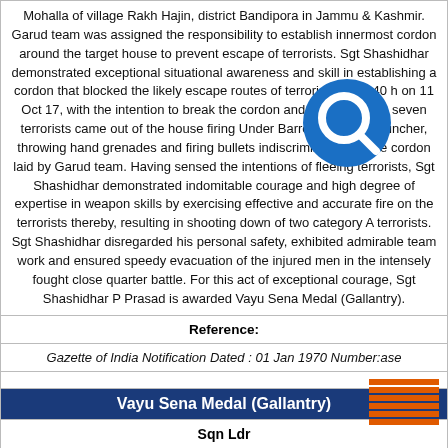Mohalla of village Rakh Hajin, district Bandipora in Jammu & Kashmir. Garud team was assigned the responsibility to establish innermost cordon around the target house to prevent escape of terrorists. Sgt Shashidhar demonstrated exceptional situational awareness and skill in establishing a cordon that blocked the likely escape routes of terrorists. At 0440 h on 11 Oct 17, with the intention to break the cordon and escape, six to seven terrorists came out of the house firing Under Barrel Grenade Launcher, throwing hand grenades and firing bullets indiscriminately on the cordon laid by Garud team. Having sensed the intentions of fleeing terrorists, Sgt Shashidhar demonstrated indomitable courage and high degree of expertise in weapon skills by exercising effective and accurate fire on the terrorists thereby, resulting in shooting down of two category A terrorists. Sgt Shashidhar disregarded his personal safety, exhibited admirable team work and ensured speedy evacuation of the injured men in the intensely fought close quarter battle. For this act of exceptional courage, Sgt Shashidhar P Prasad is awarded Vayu Sena Medal (Gallantry).
Reference:
Gazette of India Notification Dated : 01 Jan 1970 Number:ase
Vayu Sena Medal (Gallantry)
Sqn Ldr
Vernon Desmond Keane 31215 F(P)